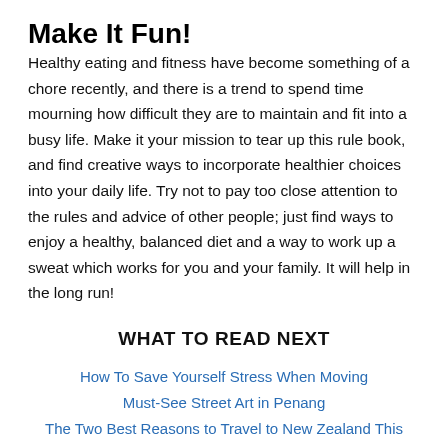Make It Fun!
Healthy eating and fitness have become something of a chore recently, and there is a trend to spend time mourning how difficult they are to maintain and fit into a busy life. Make it your mission to tear up this rule book, and find creative ways to incorporate healthier choices into your daily life. Try not to pay too close attention to the rules and advice of other people; just find ways to enjoy a healthy, balanced diet and a way to work up a sweat which works for you and your family. It will help in the long run!
WHAT TO READ NEXT
How To Save Yourself Stress When Moving
Must-See Street Art in Penang
The Two Best Reasons to Travel to New Zealand This Winter